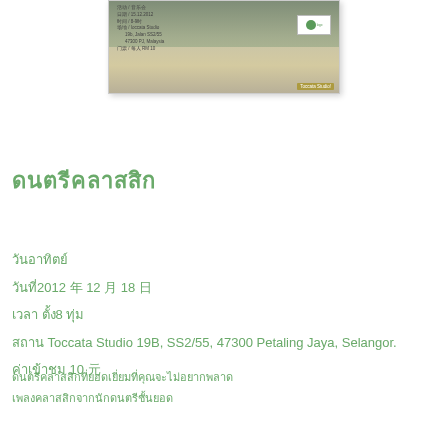[Figure (photo): Event flyer image showing Toccata Studio event details with decorative background, logo box, and studio badge]
ดนตรีคลาสสิก
วันอาทิตย์
วันที่2012 年 12 月 18 日
เวลา ตั้ง8 ทุ่ม
สถาน Toccata Studio 19B, SS2/55, 47300 Petaling Jaya, Selangor.
ค่าเข้าชม 10 元
ดนตรีคลาสสิกที่ยอดเยี่ยมที่คุณจะไม่อยากพลาด
เพลงคลาสสิกจากนักดนตรีชั้นยอด